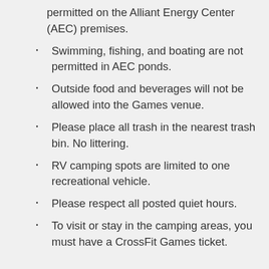permitted on the Alliant Energy Center (AEC) premises.
Swimming, fishing, and boating are not permitted in AEC ponds.
Outside food and beverages will not be allowed into the Games venue.
Please place all trash in the nearest trash bin. No littering.
RV camping spots are limited to one recreational vehicle.
Please respect all posted quiet hours.
To visit or stay in the camping areas, you must have a CrossFit Games ticket.